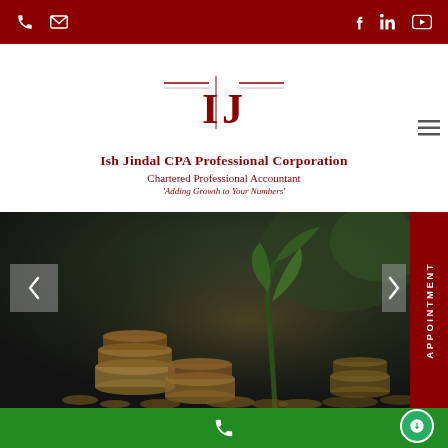Top navigation bar with phone, email, Facebook, LinkedIn, YouTube icons
[Figure (logo): IJ logo mark with horizontal lines, for Ish Jindal CPA Professional Corporation]
Ish Jindal CPA Professional Corporation
Chartered Professional Accountant
'Adding Growth to Your Numbers'
[Figure (photo): Hero image: stacked coins with a small plant growing from them, dark moody background, financial growth theme]
APPOINTMENT
Green bottom bar with phone icon and chat bubble